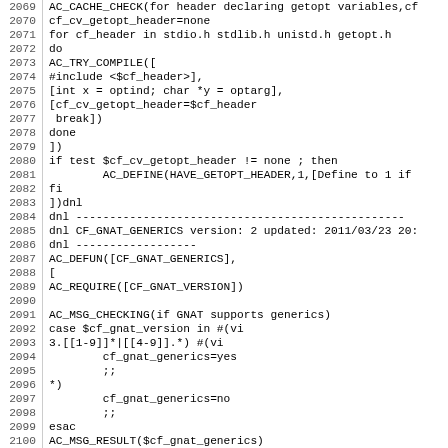Source code listing, lines 2069-2100, autoconf/m4 script
2069 AC_CACHE_CHECK(for header declaring getopt variables,cf
2070 cf_cv_getopt_header=none
2071 for cf_header in stdio.h stdlib.h unistd.h getopt.h
2072 do
2073 AC_TRY_COMPILE([
2074 #include <$cf_header>],
2075 [int x = optind; char *y = optarg],
2076 [cf_cv_getopt_header=$cf_header
2077  break])
2078 done
2079 ])
2080 if test $cf_cv_getopt_header != none ; then
2081         AC_DEFINE(HAVE_GETOPT_HEADER,1,[Define to 1 if
2082 fi
2083 ])dnl
2084 dnl ---...
2085 dnl CF_GNAT_GENERICS version: 2 updated: 2011/03/23 20:
2086 dnl ------------------
2087 AC_DEFUN([CF_GNAT_GENERICS],
2088 [
2089 AC_REQUIRE([CF_GNAT_VERSION])
2090
2091 AC_MSG_CHECKING(if GNAT supports generics)
2092 case $cf_gnat_version in #(vi
2093 3.[[1-9]]*|[[4-9]].*) #(vi
2094         cf_gnat_generics=yes
2095         ;;
2096 *)
2097         cf_gnat_generics=no
2098         ;;
2099 esac
2100 AC_MSG_RESULT($cf_gnat_generics)